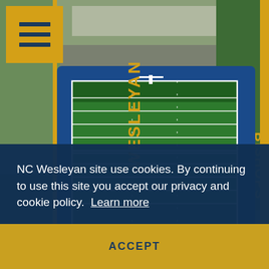[Figure (photo): Aerial view of NC Wesleyan University football field (Bishops) with blue track surround and green turf, surrounded by trees and parking areas]
[Figure (logo): Gold square hamburger menu button with three dark navy horizontal lines]
NC Wesleyan site use cookies. By continuing to use this site you accept our privacy and cookie policy.  Learn more
ACCEPT